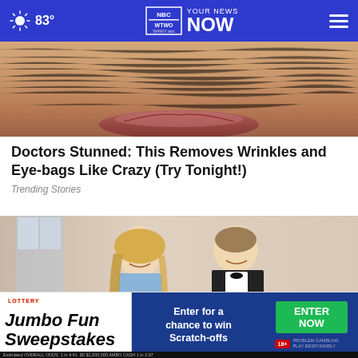83° | YOUR NEWS NOW | WTWO WAWV NBC2
[Figure (photo): Close-up photo of wrinkled skin and lips]
Doctors Stunned: This Removes Wrinkles and Eye-bags Like Crazy (Try Tonight!)
Trending Stories
[Figure (photo): A smiling blonde woman in a blue dress and a man in a tuxedo at a formal event]
[Figure (other): Jumbo Fun Lottery Sweepstakes advertisement banner — Enter for a chance to win scratch-offs — ENTER NOW button]